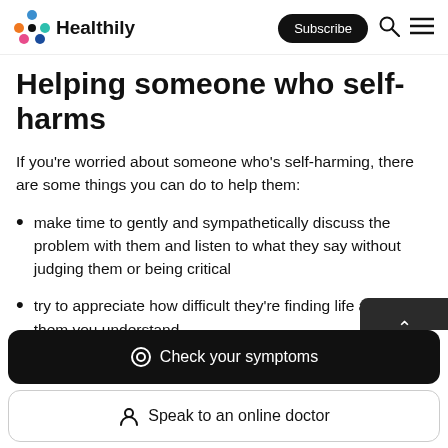Healthily | Subscribe
Helping someone who self-harms
If you're worried about someone who's self-harming, there are some things you can do to help them:
make time to gently and sympathetically discuss the problem with them and listen to what they say without judging them or being critical
try to appreciate how difficult they're finding life and show them you understand
discuss the possibility of seeking professional help
Check your symptoms
Speak to an online doctor